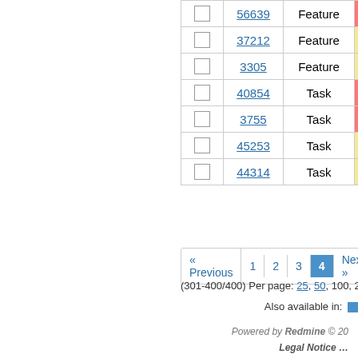|  | # | Tracker | Status |
| --- | --- | --- | --- |
| ☐ | 56639 | Feature | New |
| ☐ | 37212 | Feature | Accepted |
| ☐ | 3305 | Feature | Accepted |
| ☐ | 40854 | Task | New |
| ☐ | 3755 | Task | New |
| ☐ | 45253 | Task | Accepted |
| ☐ | 44314 | Task | Accepted |
« Previous  1  2  3  4  Next »
(301-400/400) Per page: 25, 50, 100, 200
Also available in:
Powered by Redmine © 20...
Legal Notice …